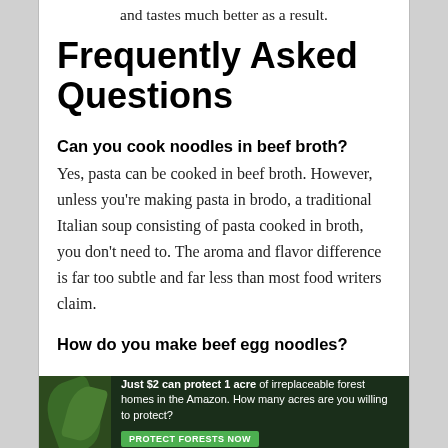and tastes much better as a result.
Frequently Asked Questions
Can you cook noodles in beef broth?
Yes, pasta can be cooked in beef broth. However, unless you're making pasta in brodo, a traditional Italian soup consisting of pasta cooked in broth, you don't need to. The aroma and flavor difference is far too subtle and far less than most food writers claim.
How do you make beef egg noodles?
[Figure (other): Advertisement banner: dark green background with forest/leaves imagery on left. Text reads: 'Just $2 can protect 1 acre of irreplaceable forest homes in the Amazon. How many acres are you willing to protect?' with a green 'PROTECT FORESTS NOW' button.]